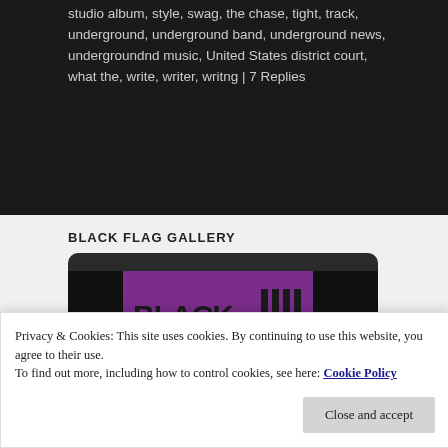studio album, style, swag, the chase, tight, track, underground, underground band, underground news, undergroundnd music, United States district court, what the, write, writer, writng | 7 Replies
BLACK FLAG GALLERY
[Figure (photo): Black Flag album art displayed on a dark tablet/monitor frame. The album art shows 'BLACK FLAG' text in bold purple/magenta background with the band's four black bars logo, and below a yellow and blue divided scene with illustrated figures (a seated woman in orange, legs of another figure, a dark-haired child, and a small dog/animal).]
Privacy & Cookies: This site uses cookies. By continuing to use this website, you agree to their use.
To find out more, including how to control cookies, see here: Cookie Policy
Close and accept